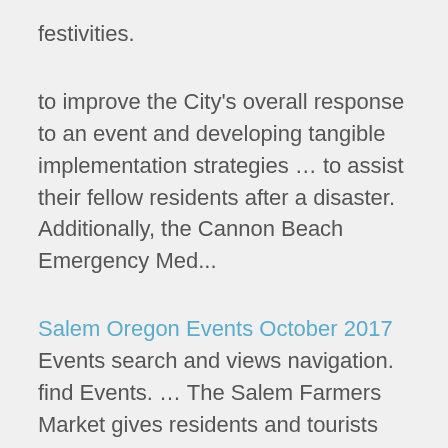festivities.
to improve the City's overall response to an event and developing tangible implementation strategies … to assist their fellow residents after a disaster. Additionally, the Cannon Beach Emergency Med...
Salem Oregon Events October 2017 Events search and views navigation. find Events. … The Salem Farmers Market gives residents and tourists alike the opportunity to buy farm-fresh produce, … Portland Oregon Labor Day Events Jacksonville Oregon Upcoming Events Upcoming reptile expos, rexptile shows, reptile symposiums, Herp Society meeting calendar, and other reptile and amphibian events AMBUS is a group of